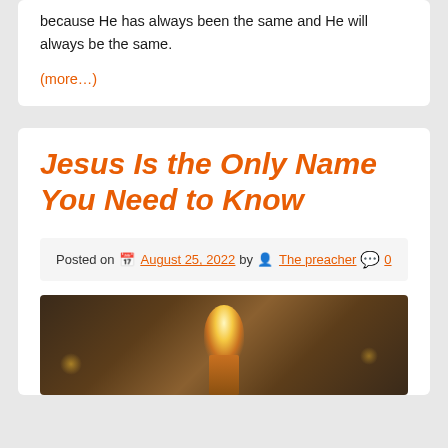because He has always been the same and He will always be the same.
(more…)
Jesus Is the Only Name You Need to Know
Posted on August 25, 2022 by The preacher 0
[Figure (photo): A blurred photo showing what appears to be a golden trophy or figurine with a star on top, with bokeh light effects in the background.]